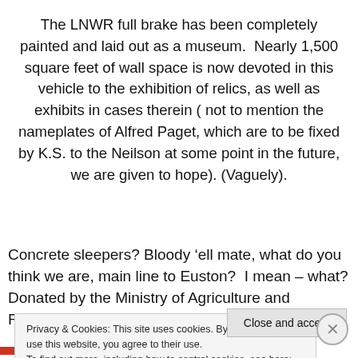The LNWR full brake has been completely painted and laid out as a museum.  Nearly 1,500 square feet of wall space is now devoted in this vehicle to the exhibition of relics, as well as exhibits in cases therein ( not to mention the nameplates of Alfred Paget, which are to be fixed by K.S. to the Neilson at some point in the future, we are given to hope). (Vaguely).
Concrete sleepers? Bloody ‘ell mate, what do you think we are, main line to Euston?  I mean – what? Donated by the Ministry of Agriculture and Fisheries? Lying in the grass at
Privacy & Cookies: This site uses cookies. By continuing to use this website, you agree to their use.
To find out more, including how to control cookies, see here: Cookie Policy